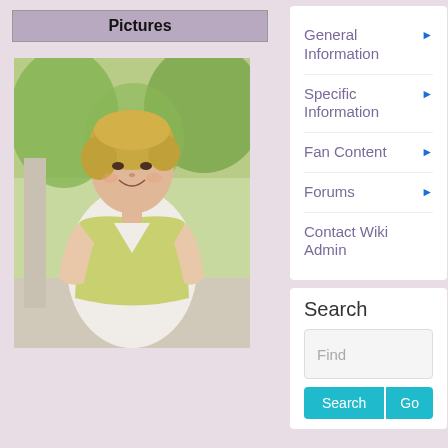Pictures
[Figure (photo): A young Asian woman with short blonde hair, smiling, wearing a light green vest over a white blouse, outdoors with green trees in background.]
General Information ▶
Specific Information ▶
Fan Content ▶
Forums ▶
Contact Wiki Admin
Search
Find
Search  Go